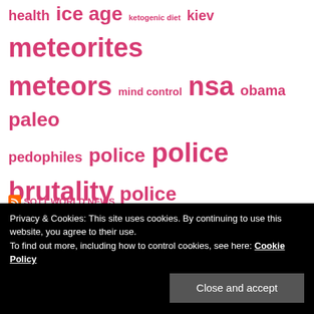[Figure (infographic): Tag cloud with various topics in pink/magenta text of varying sizes: health, ice age, ketogenic diet, kiev, meteorites, meteors, mind control, nsa, obama, paleo, pedophiles, police, police brutality, police state, ponerology, psychology, psychopathy, putin, rome, russia, science, smoking, sott talk radio, syria, terrorism, ukraine, video, weather, whistleblowers, conspiracy]
Privacy & Cookies: This site uses cookies. By continuing to use this website, you agree to their use.
To find out more, including how to control cookies, see here: Cookie Policy
Close and accept